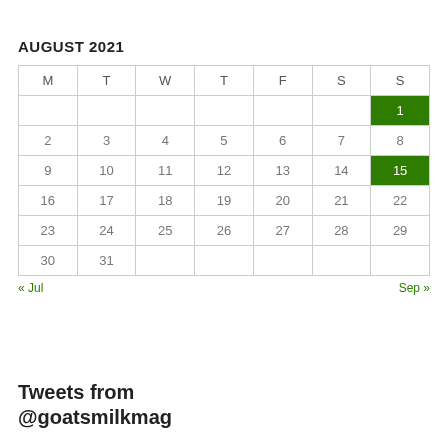AUGUST 2021
| M | T | W | T | F | S | S |
| --- | --- | --- | --- | --- | --- | --- |
|  |  |  |  |  |  | 1 |
| 2 | 3 | 4 | 5 | 6 | 7 | 8 |
| 9 | 10 | 11 | 12 | 13 | 14 | 15 |
| 16 | 17 | 18 | 19 | 20 | 21 | 22 |
| 23 | 24 | 25 | 26 | 27 | 28 | 29 |
| 30 | 31 |  |  |  |  |  |
« Jul    Sep »
Tweets from @goatsmilkmag